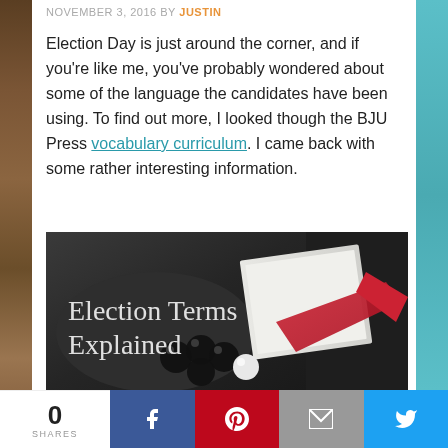NOVEMBER 3, 2016 BY JUSTIN
Election Day is just around the corner, and if you're like me, you've probably wondered about some of the language the candidates have been using. To find out more, I looked though the BJU Press vocabulary curriculum. I came back with some rather interesting information.
[Figure (photo): Photo of black marble spheres, a book/document with red ribbon, dark leather background. Text overlay reads 'Election Terms Explained' in white serif font.]
0 SHARES | Facebook | Pinterest | Email | Twitter